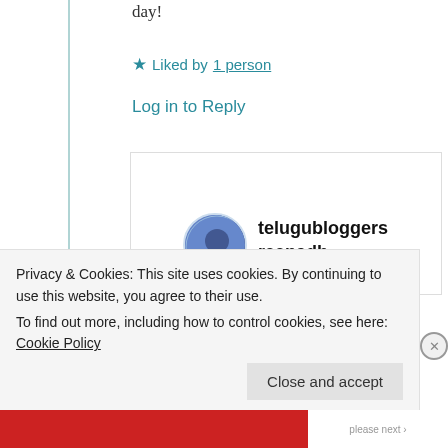day!
★ Liked by 1 person
Log in to Reply
telugubloggers reenadh
9th Jun 2021 at 4:20 am
Privacy & Cookies: This site uses cookies. By continuing to use this website, you agree to their use. To find out more, including how to control cookies, see here: Cookie Policy
Close and accept